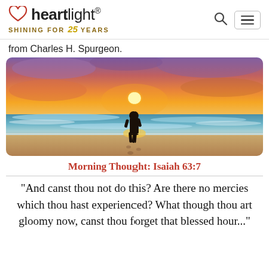heartlight® SHINING FOR 25 YEARS
from Charles H. Spurgeon.
[Figure (photo): A person standing on a beach at sunset, silhouetted against a vivid orange and purple sky with ocean waves around their feet.]
Morning Thought: Isaiah 63:7
"And canst thou not do this? Are there no mercies which thou hast experienced? What though thou art gloomy now, canst thou forget that blessed hour..."